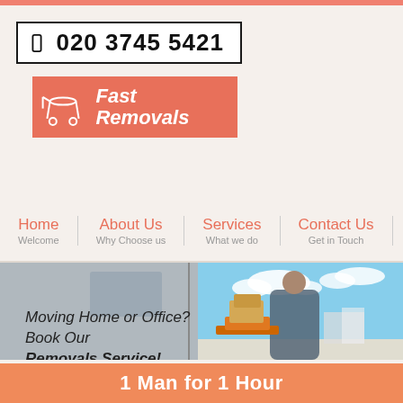020 3745 5421
[Figure (logo): Fast Removals company logo with shopping cart icon on salmon/coral background]
Home - Welcome
About Us - Why Choose us
Services - What we do
Contact Us - Get in Touch
[Figure (photo): Man unloading boxes from delivery van with text overlay: Moving Home or Office? Book Our Removals Service!]
1 Man for 1 Hour